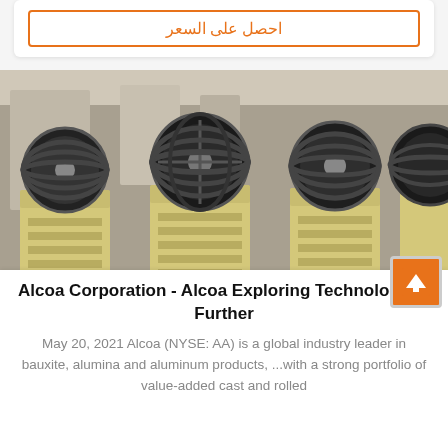احصل على السعر
[Figure (photo): Industrial jaw crushers lined up in a factory/warehouse setting. Multiple yellow crusher machines with large black flywheels/pulleys visible in background.]
Alcoa Corporation - Alcoa Exploring Technology to Further
May 20, 2021 Alcoa (NYSE: AA) is a global industry leader in bauxite, alumina and aluminum products, ...with a strong portfolio of value-added cast and rolled